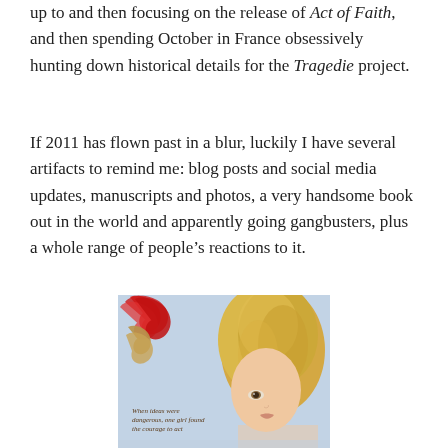up to and then focusing on the release of Act of Faith, and then spending October in France obsessively hunting down historical details for the Tragedie project.
If 2011 has flown past in a blur, luckily I have several artifacts to remind me: blog posts and social media updates, manuscripts and photos, a very handsome book out in the world and apparently going gangbusters, plus a whole range of people's reactions to it.
[Figure (illustration): Book cover of 'Act of Faith' showing a young woman with curly blonde hair, decorative red and gold floral elements in the top-left corner, light blue background, with text 'When ideas were dangerous, one girl found the courage to act']